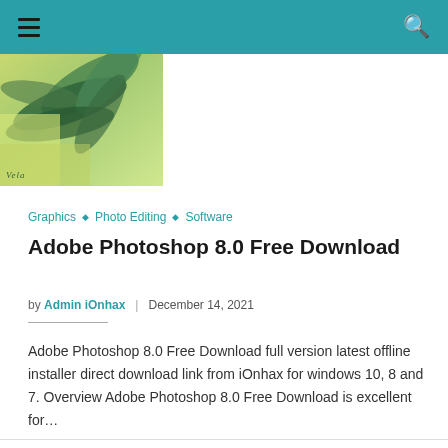≡  🔍
[Figure (photo): Partial thumbnail photo showing green plant leaves with yellow and green background, with 'Vela' text watermark in lower left]
Graphics  ◇  Photo Editing  ◇  Software
Adobe Photoshop 8.0 Free Download
by Admin iOnhax  |  December 14, 2021
Adobe Photoshop 8.0 Free Download full version latest offline installer direct download link from iOnhax for windows 10, 8 and 7. Overview Adobe Photoshop 8.0 Free Download is excellent for…